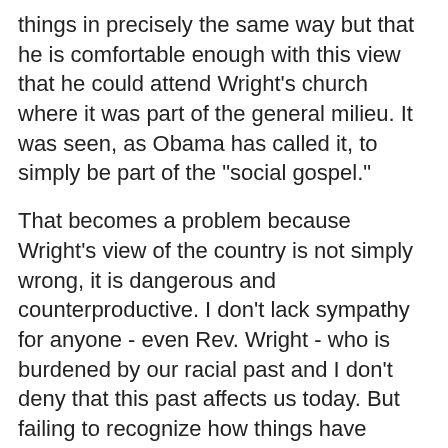things in precisely the same way but that he is comfortable enough with this view that he could attend Wright's church where it was part of the general milieu. It was seen, as Obama has called it, to simply be part of the "social gospel."
That becomes a problem because Wright's view of the country is not simply wrong, it is dangerous and counterproductive. I don't lack sympathy for anyone - even Rev. Wright - who is burdened by our racial past and I don't deny that this past affects us today. But failing to recognize how things have changed and giving credibility to bizarre and unfounded conspiracies that flame racial resentment is not simply a preaching of the "social gospel." It's toxic.
Obama's response to this has not been sufficient and his claim that he would have quit if he had heard these claims "repeated" (whatever that means) may backfire if it turns out that he did hear them "repeated."
It seems to me that he needs to explain how he could regard Wright as so important given the fact that this type of toxicity was not atypical for Wright. I assume that he will say, as he has said, Wright has expressed positions that Wright has